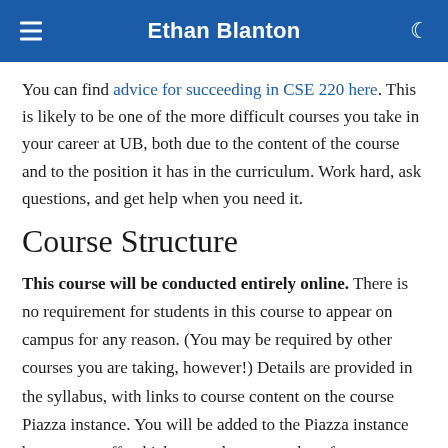Ethan Blanton
You can find advice for succeeding in CSE 220 here. This is likely to be one of the more difficult courses you take in your career at UB, both due to the content of the course and to the position it has in the curriculum. Work hard, ask questions, and get help when you need it.
Course Structure
This course will be conducted entirely online. There is no requirement for students in this course to appear on campus for any reason. (You may be required by other courses you are taking, however!) Details are provided in the syllabus, with links to course content on the course Piazza instance. You will be added to the Piazza instance by course staff, which may take up to a day after your registration status changes. Please be patient.